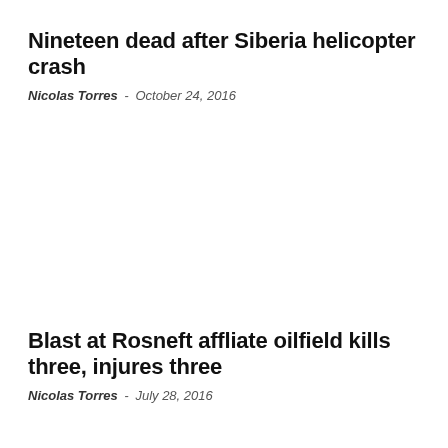Nineteen dead after Siberia helicopter crash
Nicolas Torres  -  October 24, 2016
Blast at Rosneft affliate oilfield kills three, injures three
Nicolas Torres  -  July 28, 2016